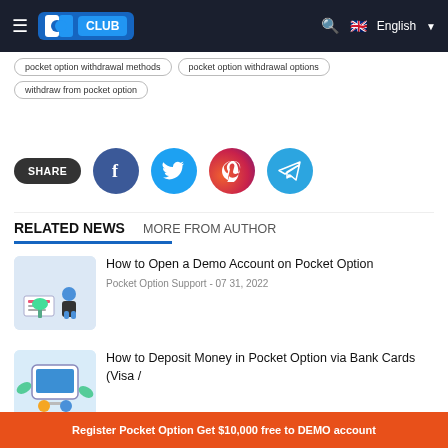DD CLUB — English
pocket option withdrawal methods | pocket option withdrawal options
withdraw from pocket option
SHARE
RELATED NEWS
MORE FROM AUTHOR
How to Open a Demo Account on Pocket Option
Pocket Option Support - 07 31, 2022
How to Deposit Money in Pocket Option via Bank Cards (Visa /
Register Pocket Option Get $10,000 free to DEMO account